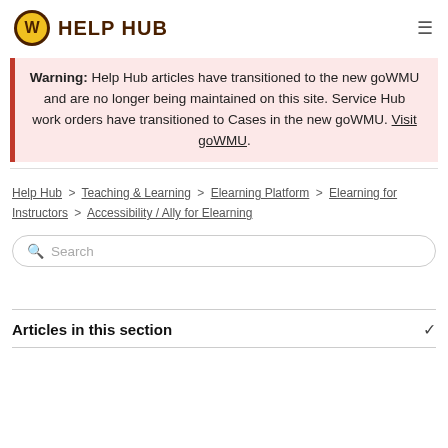W HELP HUB
Warning: Help Hub articles have transitioned to the new goWMU and are no longer being maintained on this site. Service Hub work orders have transitioned to Cases in the new goWMU. Visit goWMU.
Help Hub > Teaching & Learning > Elearning Platform > Elearning for Instructors > Accessibility / Ally for Elearning
Search
Articles in this section